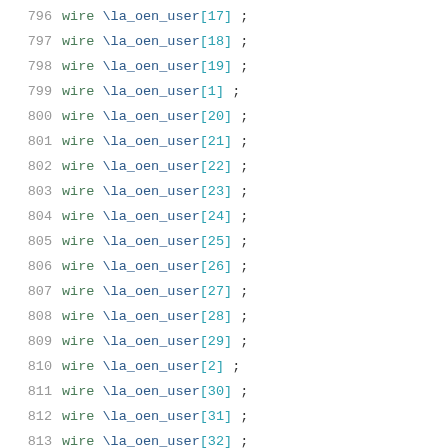796    wire \la_oen_user[17] ;
797    wire \la_oen_user[18] ;
798    wire \la_oen_user[19] ;
799    wire \la_oen_user[1] ;
800    wire \la_oen_user[20] ;
801    wire \la_oen_user[21] ;
802    wire \la_oen_user[22] ;
803    wire \la_oen_user[23] ;
804    wire \la_oen_user[24] ;
805    wire \la_oen_user[25] ;
806    wire \la_oen_user[26] ;
807    wire \la_oen_user[27] ;
808    wire \la_oen_user[28] ;
809    wire \la_oen_user[29] ;
810    wire \la_oen_user[2] ;
811    wire \la_oen_user[30] ;
812    wire \la_oen_user[31] ;
813    wire \la_oen_user[32] ;
814    wire \la_oen_user[33] ;
815    wire \la_oen_user[34] ;
816    wire \la_oen_user[35] ;
817    wire \la_oen_user[36] ;